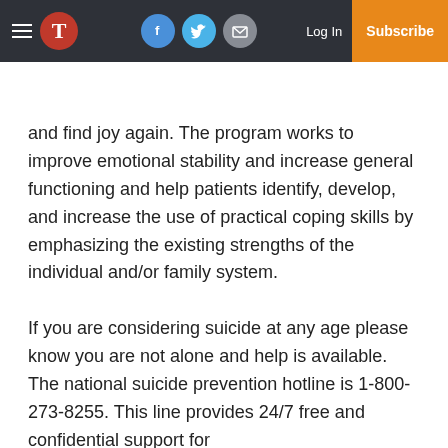T [logo] [facebook] [twitter] [mail] Log In Subscribe
and find joy again. The program works to improve emotional stability and increase general functioning and help patients identify, develop, and increase the use of practical coping skills by emphasizing the existing strengths of the individual and/or family system.
If you are considering suicide at any age please know you are not alone and help is available. The national suicide prevention hotline is 1-800-273-8255. This line provides 24/7 free and confidential support for